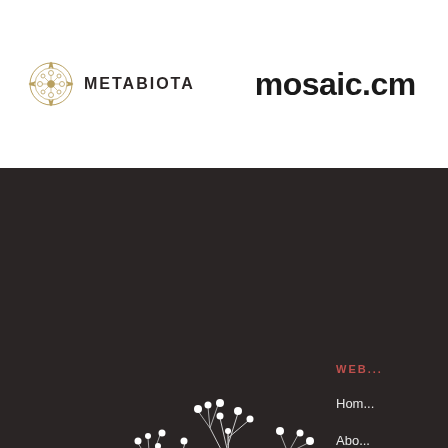[Figure (logo): Metabiota logo with circular geometric emblem and text METABIOTA, alongside mosaic.cm text]
[Figure (illustration): White botanical/plant illustration with branching stems and circular nodes on dark background]
LABORATORY FOR RESEARCH IN COMPLEX SYSTEMS
WEBS
Home
About
Projects
Team
Careers